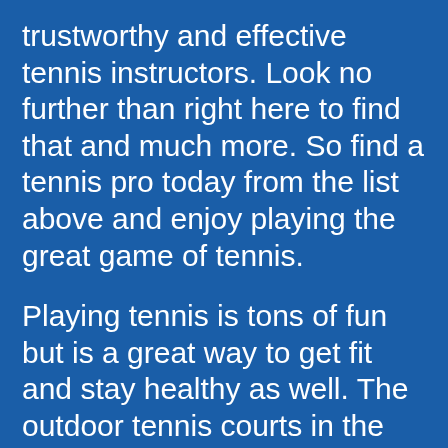trustworthy and effective tennis instructors. Look no further than right here to find that and much more. So find a tennis pro today from the list above and enjoy playing the great game of tennis.
Playing tennis is tons of fun but is a great way to get fit and stay healthy as well. The outdoor tennis courts in the surrounding area are the place to be to burn calories, reduce stress and also get energized the healthy way. If you're looking for an energy boost, beginner tennis lessons will naturally invigorate you and keep